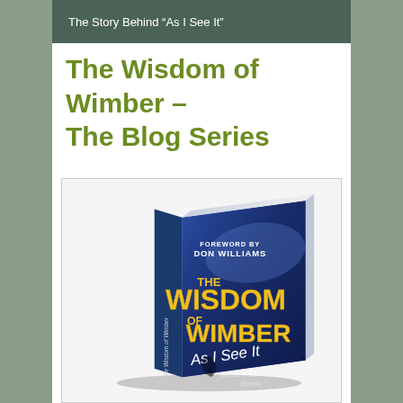The Story Behind “As I See It”
The Wisdom of Wimber – The Blog Series
[Figure (photo): Book cover of 'The Wisdom of Wimber: As I See It' with foreword by Don Williams, shown as a 3D angled book with a blue cover featuring gold and white text]